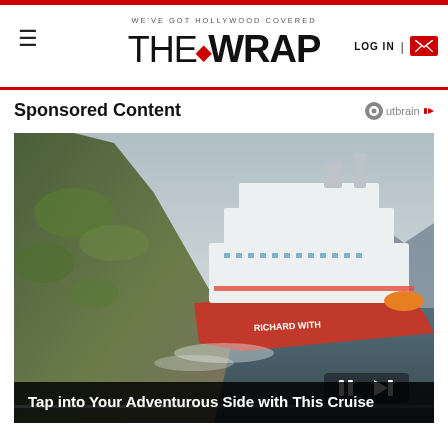THE WRAP — WE'VE GOT HOLLYWOOD COVERED — LOG IN
Sponsored Content
[Figure (photo): A large red and white cruise ship named Richard With sailing past a steep mossy rocky cliff, with people visible on the deck, set against a dramatic Norwegian fjord landscape.]
Tap into Your Adventurous Side with This Cruise